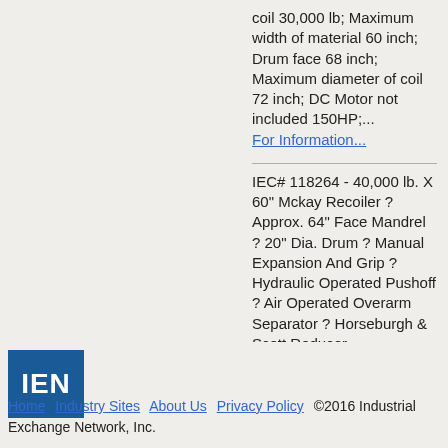coil 30,000 lb; Maximum width of material 60 inch; Drum face 68 inch; Maximum diameter of coil 72 inch; DC Motor not included 150HP;...
For Information...
IEC# 118264 - 40,000 lb. X 60" Mckay Recoiler ? Approx. 64" Face Mandrel ? 20" Dia. Drum ? Manual Expansion And Grip ? Hydraulic Operated Pushoff ? Air Operated Overarm Separator ? Horseburgh & Scott Reducer,...
For Information...
[Figure (logo): IEN logo - white text 'IEN' on dark blue square background]
Home   Industry Sites   About Us   Privacy Policy   ©2016 Industrial Exchange Network, Inc.